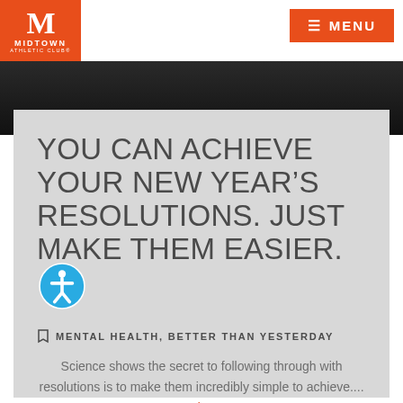Midtown Athletic Club | MENU
[Figure (photo): Dark banner image background]
YOU CAN ACHIEVE YOUR NEW YEAR'S RESOLUTIONS. JUST MAKE THEM EASIER.
MENTAL HEALTH, BETTER THAN YESTERDAY
Science shows the secret to following through with resolutions is to make them incredibly simple to achieve.... Read More